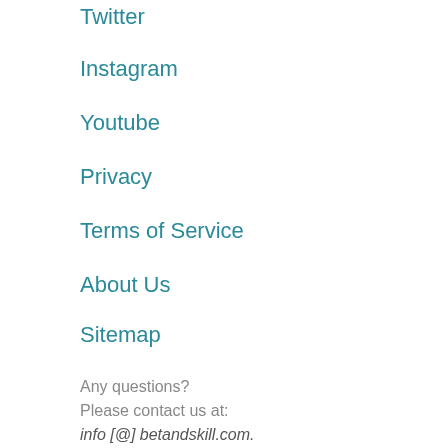Twitter
Instagram
Youtube
Privacy
Terms of Service
About Us
Sitemap
Any questions?
Please contact us at:
info [@] betandskill.com.
[Figure (infographic): Yellow banner with 'Please Gamble Responsibly.' text and logos for GamCare, BeGambleAware.org, and gt]
BeGambleAware.org aims to promote